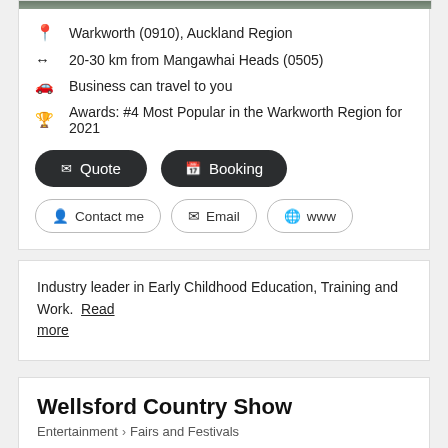Warkworth (0910), Auckland Region
20-30 km from Mangawhai Heads (0505)
Business can travel to you
Awards: #4 Most Popular in the Warkworth Region for 2021
Quote
Booking
Contact me
Email
www
Industry leader in Early Childhood Education, Training and Work. Read more
Wellsford Country Show
Entertainment > Fairs and Festivals
[Figure (photo): Photo strip of people at an outdoor event/festival]